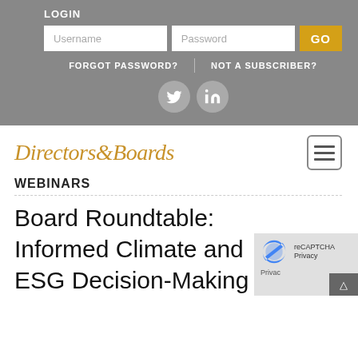LOGIN
[Figure (screenshot): Login form with Username and Password fields and a GO button]
FORGOT PASSWORD?   NOT A SUBSCRIBER?
[Figure (logo): Directors & Boards logo in gold italic serif font]
[Figure (illustration): Hamburger menu icon]
WEBINARS
Board Roundtable: Informed Climate and ESG Decision-Making